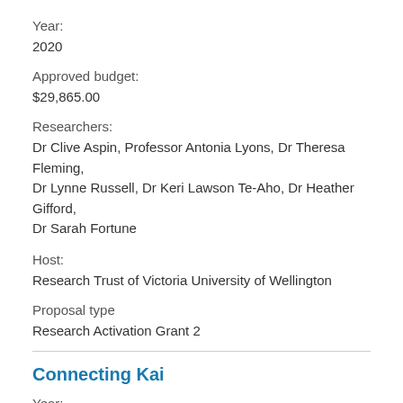Year:
2020
Approved budget:
$29,865.00
Researchers:
Dr Clive Aspin, Professor Antonia Lyons, Dr Theresa Fleming, Dr Lynne Russell, Dr Keri Lawson Te-Aho, Dr Heather Gifford, Dr Sarah Fortune
Host:
Research Trust of Victoria University of Wellington
Proposal type
Research Activation Grant 2
Connecting Kai
Year: